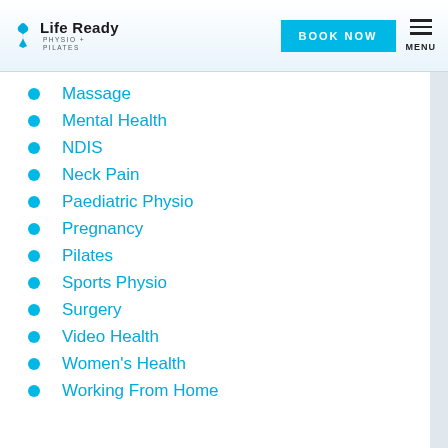Life Ready Physio + Pilates — BOOK NOW — MENU
Massage
Mental Health
NDIS
Neck Pain
Paediatric Physio
Pregnancy
Pilates
Sports Physio
Surgery
Video Health
Women's Health
Working From Home